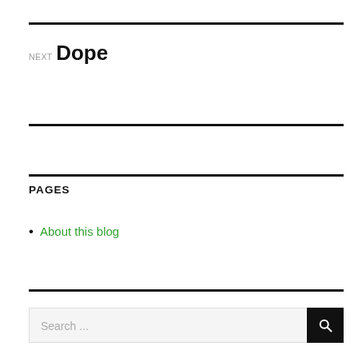NEXT
Dope
PAGES
About this blog
Search ...